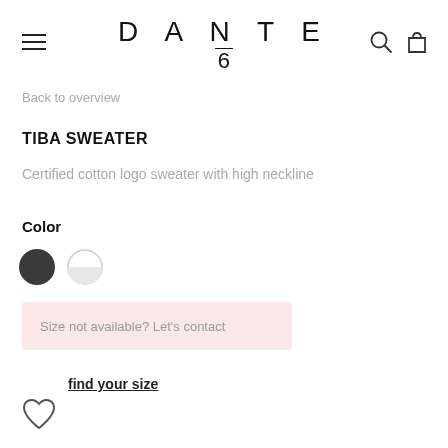[Figure (logo): DANTE 6 brand logo with hamburger menu, search icon, and shopping bag icon in navigation header]
Back to overview
TIBA SWEATER
Certified cotton logo sweater with high neckline
Color
[Figure (illustration): Two color swatches: dark grey/charcoal circle and a half-white circle with light border]
Size not available? Let's contact
find your size
[Figure (illustration): Heart/wishlist icon outline]